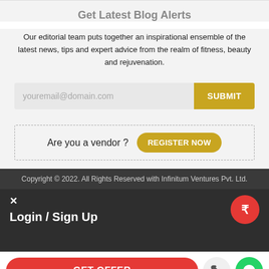Get Latest Blog Alerts
Our editorial team puts together an inspirational ensemble of the latest news, tips and expert advice from the realm of fitness, beauty and rejuvenation.
youremail@domain.com [input field] SUBMIT
Are you a vendor ?   REGISTER NOW
Copyright © 2022. All Rights Reserved with Infinitum Ventures Pvt. Ltd.
× Login / Sign Up
GET OFFER